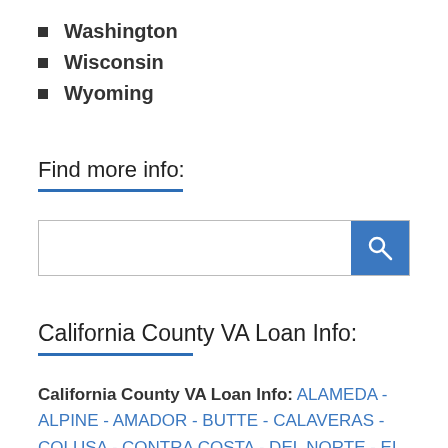Washington
Wisconsin
Wyoming
Find more info:
[Figure (other): Search input box with a blue search button containing a magnifying glass icon]
California County VA Loan Info:
California County VA Loan Info: ALAMEDA - ALPINE - AMADOR - BUTTE - CALAVERAS - COLUSA - CONTRA COSTA - DEL NORTE - EL DORADO - FRESNO - GLENN